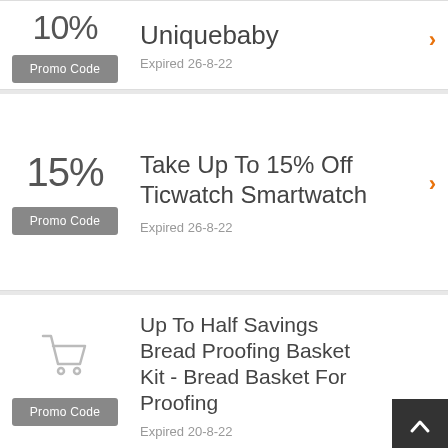10%
Promo Code
Uniquebaby
Expired 26-8-22
15%
Promo Code
Take Up To 15% Off Ticwatch Smartwatch
Expired 26-8-22
[Figure (illustration): Shopping cart icon (gray outline)]
Promo Code
Up To Half Savings Bread Proofing Basket Kit - Bread Basket For Proofing
Expired 20-8-22